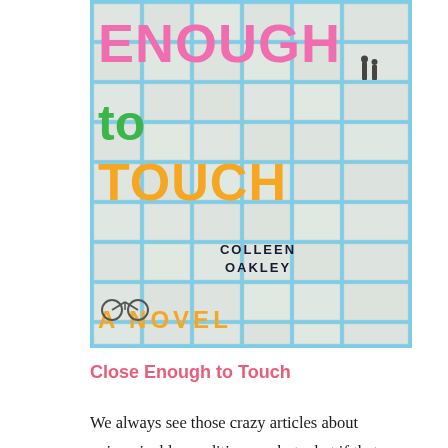[Figure (illustration): Book cover of 'Close Enough to Touch' by Colleen Oakley — a novel. The cover features a light blue background with scattered open book page tiles. The title text 'ENOUGH' is in large pink letters, 'to' in green, 'TOUCH' in orange. 'COLLEEN OAKLEY' appears in dark bold text in the center-right. 'A NOVEL' in orange at the bottom. Small silhouettes of two people at top right and a bicycle at bottom left.]
Close Enough to Touch
We always see those crazy articles about unimaginable conditions — but what if that was your reality? This book follows a woman who is allergic to human touch as she tried to live a normal life as a librarian. It's a unique story line that felt different from many books today. I loved